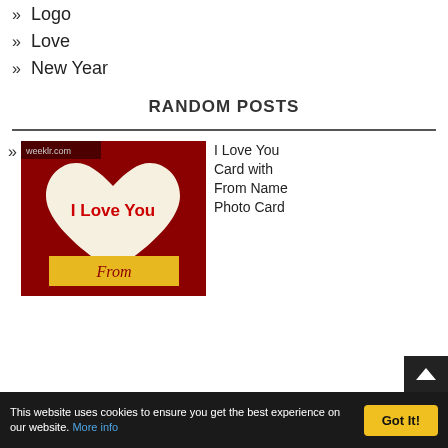» Logo
» Love
» New Year
RANDOM POSTS
[Figure (illustration): I Love You Card image: red background with a large white heart shape containing bold red text 'I Love You', and a yellow banner ribbon at the bottom with cursive text 'From'. A small watermark 'weeklr.com' is in the top left corner.]
I Love You Card with From Name Photo Card
This website uses cookies to ensure you get the best experience on our website. More info
Got It!